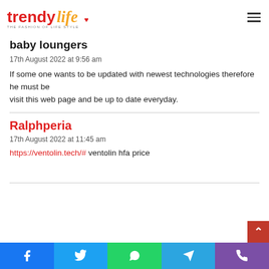TrendyLife - The Fashion of Life Style
baby loungers
17th August 2022 at 9:56 am
If some one wants to be updated with newest technologies therefore he must be visit this web page and be up to date everyday.
Ralphperia
17th August 2022 at 11:45 am
https://ventolin.tech/# ventolin hfa price
Social sharing bar: Facebook, Twitter, WhatsApp, Telegram, Phone